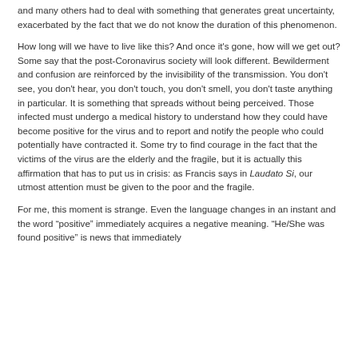and many others had to deal with something that generates great uncertainty, exacerbated by the fact that we do not know the duration of this phenomenon.
How long will we have to live like this? And once it’s gone, how will we get out? Some say that the post-Coronavirus society will look different. Bewilderment and confusion are reinforced by the invisibility of the transmission. You don’t see, you don’t hear, you don’t touch, you don’t smell, you don’t taste anything in particular. It is something that spreads without being perceived. Those infected must undergo a medical history to understand how they could have become positive for the virus and to report and notify the people who could potentially have contracted it. Some try to find courage in the fact that the victims of the virus are the elderly and the fragile, but it is actually this affirmation that has to put us in crisis: as Francis says in Laudato Si, our utmost attention must be given to the poor and the fragile.
For me, this moment is strange. Even the language changes in an instant and the word “positive” immediately acquires a negative meaning. “He/She was found positive” is news that immediately